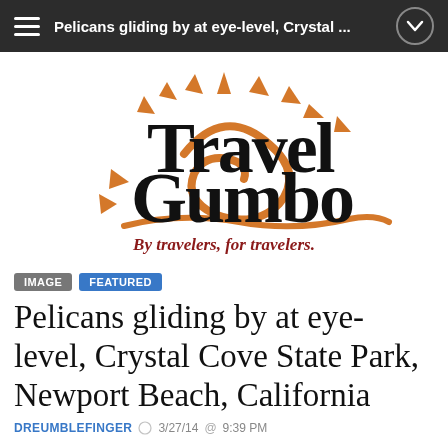Pelicans gliding by at eye-level, Crystal ...
[Figure (logo): Travel Gumbo logo — stylized black bold text 'Travel Gumbo' with orange sun/swirl decorative elements and tagline 'By travelers, for travelers.' in dark red bold italic]
IMAGE   FEATURED
Pelicans gliding by at eye-level, Crystal Cove State Park, Newport Beach, California
DREUMBLEFINGER   3/27/14   9:39 PM